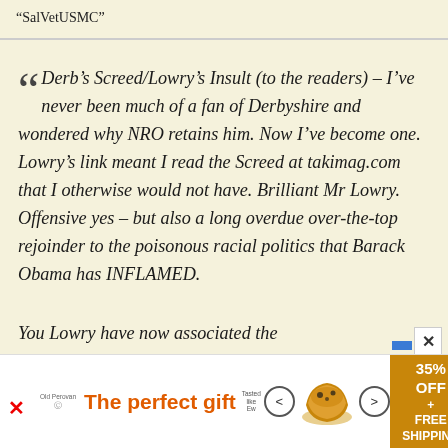“SalVetUSMC”
Derb’s Screed/Lowry’s Insult (to the readers) – I’ve never been much of a fan of Derbyshire and wondered why NRO retains him. Now I’ve become one. Lowry’s link meant I read the Screed at takimag.com that I otherwise would not have. Brilliant Mr Lowry. Offensive yes – but also a long overdue over-the-top rejoinder to the poisonous racial politics that Barack Obama has INFLAMED.
You Lowry have now associated the
[Figure (other): Advertisement banner: The perfect gift, 35% OFF + FREE SHIPPING, with bowl of food product and navigation arrows]